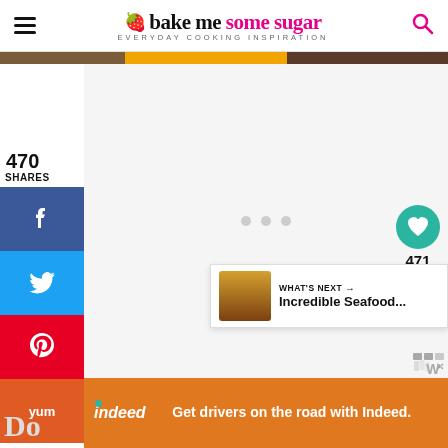bake me some sugar — EVERYDAY COOKING INSPIRATION
[Figure (screenshot): Top image strip showing partial food photography images]
470
SHARES
[Figure (screenshot): Facebook share button (blue)]
[Figure (screenshot): Twitter share button (blue)]
[Figure (screenshot): Pinterest share button (red)]
[Figure (screenshot): Yummly share button (orange)]
[Figure (screenshot): Main content area with loading dots]
[Figure (screenshot): Heart/like button showing 471 count and share icon]
[Figure (screenshot): What's Next widget showing Incredible Seafood...]
[Figure (screenshot): Indeed advertisement: Get drivers on the road with Indeed]
Do...asy